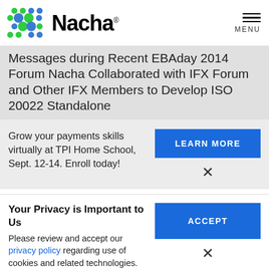[Figure (logo): Nacha logo with colorful dot grid and wordmark]
Messages during Recent EBAday 2014 Forum Nacha Collaborated with IFX Forum and Other IFX Members to Develop ISO 20022 Standalone
Grow your payments skills virtually at TPI Home School, Sept. 12-14. Enroll today!
LEARN MORE
Your Privacy is Important to Us
Please review and accept our privacy policy regarding use of cookies and related technologies.
ACCEPT